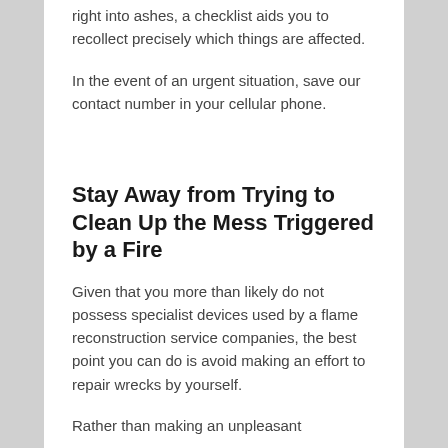right into ashes, a checklist aids you to recollect precisely which things are affected.
In the event of an urgent situation, save our contact number in your cellular phone.
Stay Away from Trying to Clean Up the Mess Triggered by a Fire
Given that you more than likely do not possess specialist devices used by a flame reconstruction service companies, the best point you can do is avoid making an effort to repair wrecks by yourself.
Rather than making an unpleasant